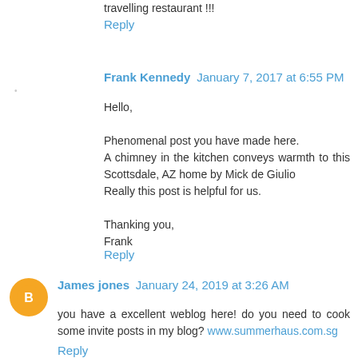travelling restaurant !!!
Reply
Frank Kennedy  January 7, 2017 at 6:55 PM
Hello,

Phenomenal post you have made here.
A chimney in the kitchen conveys warmth to this Scottsdale, AZ home by Mick de Giulio
Really this post is helpful for us.

Thanking you,
Frank
Reply
James jones  January 24, 2019 at 3:26 AM
you have a excellent weblog here! do you need to cook some invite posts in my blog? www.summerhaus.com.sg
Reply